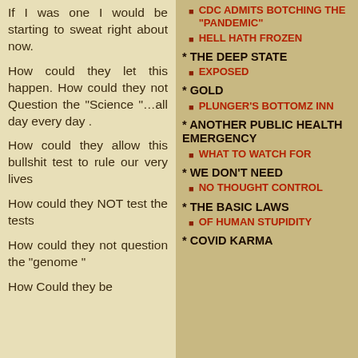If I was one I would be starting to sweat right about now.
How could they let this happen. How could they not Question the "Science "…all day every day .
How could they allow this bullshit test to rule our very lives
How could they NOT test the tests
How could they not question the "genome "
How Could they be
* CDC ADMITS BOTCHING THE "PANDEMIC"
CDC ADMITS BOTCHING THE "PANDEMIC"
HELL HATH FROZEN
* THE DEEP STATE
EXPOSED
* GOLD
PLUNGER'S BOTTOMZ INN
* ANOTHER PUBLIC HEALTH EMERGENCY
WHAT TO WATCH FOR
* WE DON'T NEED
NO THOUGHT CONTROL
* THE BASIC LAWS
OF HUMAN STUPIDITY
* COVID KARMA